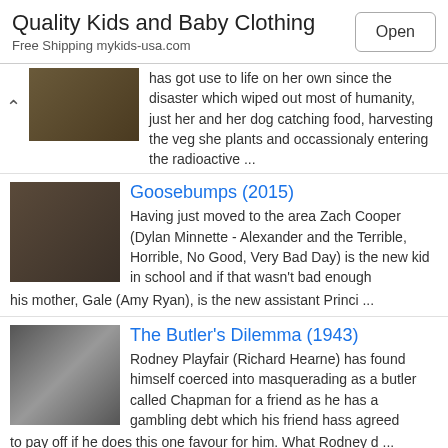[Figure (screenshot): Ad banner for Quality Kids and Baby Clothing with Open button]
Quality Kids and Baby Clothing
Free Shipping mykids-usa.com
has got use to life on her own since the disaster which wiped out most of humanity, just her and her dog catching food, harvesting the veg she plants and occassionaly entering the radioactive ...
Goosebumps (2015)
Having just moved to the area Zach Cooper (Dylan Minnette - Alexander and the Terrible, Horrible, No Good, Very Bad Day) is the new kid in school and if that wasn't bad enough his mother, Gale (Amy Ryan), is the new assistant Princi ...
The Butler's Dilemma (1943)
Rodney Playfair (Richard Hearne) has found himself coerced into masquerading as a butler called Chapman for a friend as he has a gambling debt which his friend hass agreed to pay off if he does this one favour for him. What Rodney d ...
Mission: Impossible - Fallout (2018)